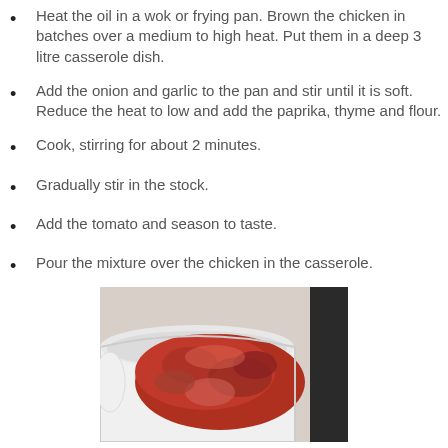Heat the oil in a wok or frying pan. Brown the chicken in batches over a medium to high heat. Put them in a deep 3 litre casserole dish.
Add the onion and garlic to the pan and stir until it is soft. Reduce the heat to low and add the paprika, thyme and flour.
Cook, stirring for about 2 minutes.
Gradually stir in the stock.
Add the tomato and season to taste.
Pour the mixture over the chicken in the casserole.
[Figure (photo): Photo of cooked chicken pieces covered in tomato-based sauce in a white casserole dish]